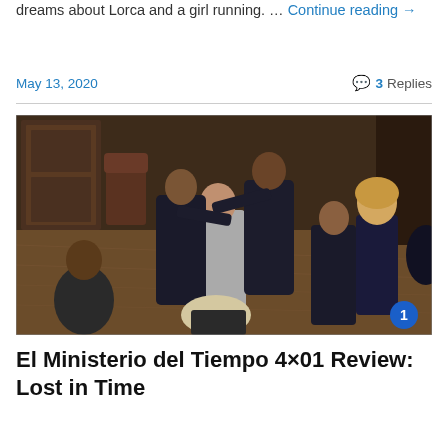dreams about Lorca and a girl running. … Continue reading →
May 13, 2020   💬 3 Replies
[Figure (photo): TV show scene showing several people in formal suits in an indoor setting, with a man in a light grey suit being restrained or grabbed by others. A blonde woman watches from the right side. A blue circle with number 1 appears in the bottom right corner.]
El Ministerio del Tiempo 4×01 Review: Lost in Time